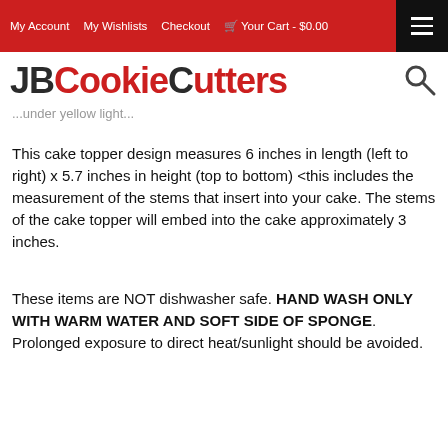My Account  My Wishlists  Checkout  Your Cart - $0.00
[Figure (logo): JBCookieCutters logo with JB in dark/black and CookieCutters in red, serif/sans mixed font]
...under yellow light...
This cake topper design measures 6 inches in length (left to right) x 5.7 inches in height (top to bottom) <this includes the measurement of the stems that insert into your cake. The stems of the cake topper will embed into the cake approximately 3 inches.
These items are NOT dishwasher safe. HAND WASH ONLY WITH WARM WATER AND SOFT SIDE OF SPONGE. Prolonged exposure to direct heat/sunlight should be avoided.